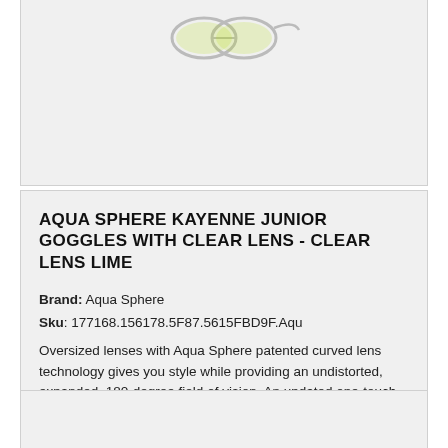[Figure (photo): Partial product image of Aqua Sphere Kayenne Junior Goggles, top portion visible showing lime/clear goggle]
AQUA SPHERE KAYENNE JUNIOR GOGGLES WITH CLEAR LENS - CLEAR LENS LIME
Brand: Aqua Sphere
Sku: 177168.156178.5F87.5615FBD9F.Aqu
Oversized lenses with Aqua Sphere patented curved lens technology gives you style while providing an undistorted, expanded, 180-degree field of vision. An updated one-touch buckle makes fitt...
PRICING & INFO  $19.00  ★★★★★
[Figure (photo): Bottom product card, image area visible, partially cut off]